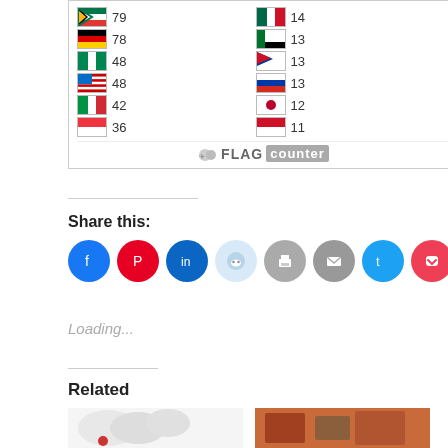[Figure (other): Flag counter widget showing country flags with visitor counts. Rows: South Africa 79, Mexico 14; Germany 78, UAE 13; Nigeria 48, Nepal 13; Malaysia 48, Russia 13; Italy 42, Japan 12; Singapore 36, Indonesia 11. Bottom: FLAG counter brand logo.]
Share this:
[Figure (other): Row of social media share buttons as colored circles: Facebook (blue), Pinterest (red), LinkedIn (dark blue), Reddit (light blue), Print (gray), Email (gray), Twitter (cyan), Pocket (red), Skype (cyan), Tumblr (dark navy)]
Loading...
Related